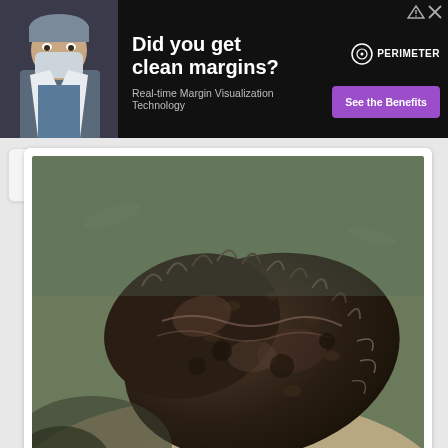[Figure (infographic): Advertisement banner with dark background. Shows a doctor in surgical mask on left. Text reads 'Did you get clean margins?' with subtitle 'Real-time Margin Visualization Technology'. Right side has PERIMETER logo and 'See the Benefits' purple button.]
[Figure (photo): Close-up underwater photograph of a sea creature (appears to be a large sea cucumber or similar marine organism) resting on a sandy ocean floor. The creature is dark brown/black with textured surface, against sandy substrate.]
Credit »